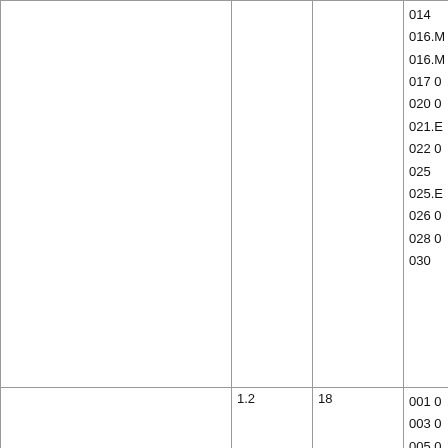|  |  |  | Codes |
| --- | --- | --- | --- |
|  |  |  | 014
016.M
016.M
017 0
020 0
021.E
022 0
025
025.E
026 0
028 0
030 |
|  | 1.2 | 18 | 001 0
003 0
005 0
006.E
007 0
009 0
011 |